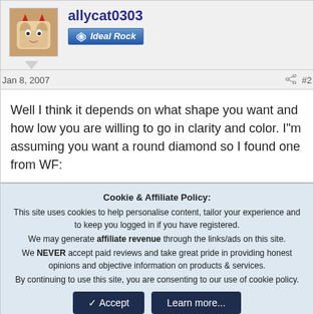allycat0303
[Figure (illustration): Badge reading 'Ideal Rock' with diamond icon, blue gradient background]
Jan 8, 2007
#2
Well I think it depends on what shape you want and how low you are willing to go in clarity and color. I"m assuming you want a round diamond so I found one from WF:
Cookie & Affiliate Policy: This site uses cookies to help personalise content, tailor your experience and to keep you logged in if you have registered. We may generate affiliate revenue through the links/ads on this site. We NEVER accept paid reviews and take great pride in providing honest opinions and objective information on products & services. By continuing to use this site, you are consenting to our use of cookie policy.